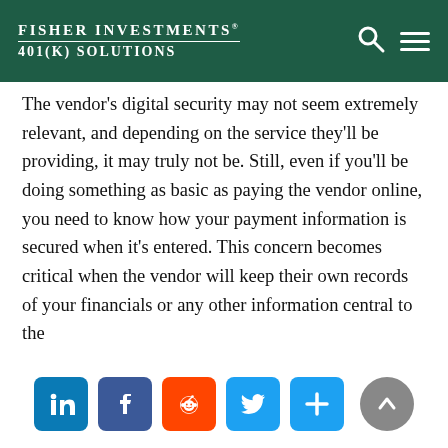Fisher Investments® 401(k) Solutions
The vendor's digital security may not seem extremely relevant, and depending on the service they'll be providing, it may truly not be. Still, even if you'll be doing something as basic as paying the vendor online, you need to know how your payment information is secured when it's entered. This concern becomes critical when the vendor will keep their own records of your financials or any other information central to the
[Figure (other): Social media sharing icons bar: LinkedIn, Facebook, Reddit, Twitter, More (+), and scroll-to-top arrow button]